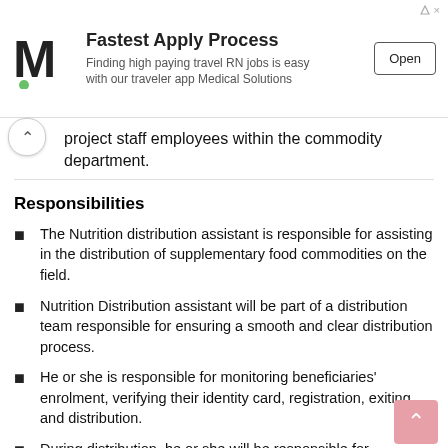[Figure (other): Advertisement banner for Medical Solutions: 'Fastest Apply Process — Finding high paying travel RN jobs is easy with our traveler app Medical Solutions' with Open button]
...oject staff employees within the commodity department.
Responsibilities
The Nutrition distribution assistant is responsible for assisting in the distribution of supplementary food commodities on the field.
Nutrition Distribution assistant will be part of a distribution team responsible for ensuring a smooth and clear distribution process.
He or she is responsible for monitoring beneficiaries' enrolment, verifying their identity card, registration, exiting and distribution.
During distribution, he or she will be responsible for monitoring the process together with Nutrition officer and